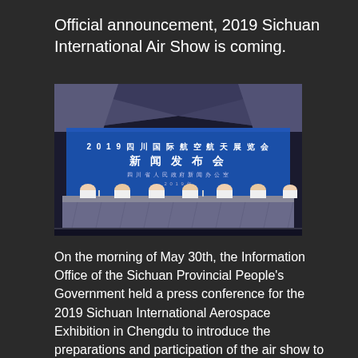Official announcement, 2019 Sichuan International Air Show is coming.
[Figure (photo): Press conference photo for the 2019 Sichuan International Aerospace Exhibition. Several officials sit behind a long draped table on a stage. The backdrop is a large blue screen with Chinese text reading '2019四川国际航空航天展览会 新闻发布会 四川省人民政府新闻办公室'.]
On the morning of May 30th, the Information Office of the Sichuan Provincial People's Government held a press conference for the 2019 Sichuan International Aerospace Exhibition in Chengdu to introduce the preparations and participation of the air show to domestic and foreign media.